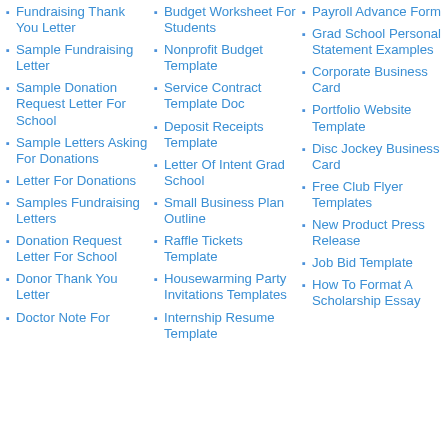Fundraising Thank You Letter
Sample Fundraising Letter
Sample Donation Request Letter For School
Sample Letters Asking For Donations
Letter For Donations
Samples Fundraising Letters
Donation Request Letter For School
Donor Thank You Letter
Doctor Note For
Budget Worksheet For Students
Nonprofit Budget Template
Service Contract Template Doc
Deposit Receipts Template
Letter Of Intent Grad School
Small Business Plan Outline
Raffle Tickets Template
Housewarming Party Invitations Templates
Internship Resume Template
Payroll Advance Form
Grad School Personal Statement Examples
Corporate Business Card
Portfolio Website Template
Disc Jockey Business Card
Free Club Flyer Templates
New Product Press Release
Job Bid Template
How To Format A Scholarship Essay